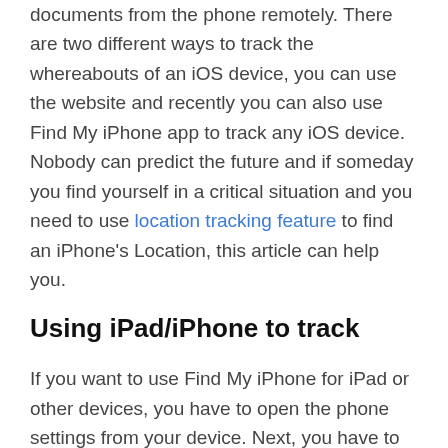documents from the phone remotely. There are two different ways to track the whereabouts of an iOS device, you can use the website and recently you can also use Find My iPhone app to track any iOS device. Nobody can predict the future and if someday you find yourself in a critical situation and you need to use location tracking feature to find an iPhone's Location, this article can help you.
Using iPad/iPhone to track
If you want to use Find My iPhone for iPad or other devices, you have to open the phone settings from your device. Next, you have to enter your account ID/ Apple ID when your device asks for it. Now you have to open iCloud and you can see Find My iPhone at the bottom of the screen. Now click on it and turn it on. You are done and now you can locate an iOS device easily.